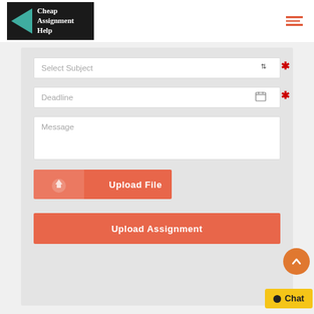[Figure (logo): Cheap Assignment Help logo with teal triangle and white text on black background]
[Figure (screenshot): Web form with Select Subject dropdown, Deadline field, Message textarea, Upload File button, and Upload Assignment button on grey background]
[Figure (other): Orange scroll-to-top circular button with upward chevron]
[Figure (other): Yellow Chat button with black dot icon]